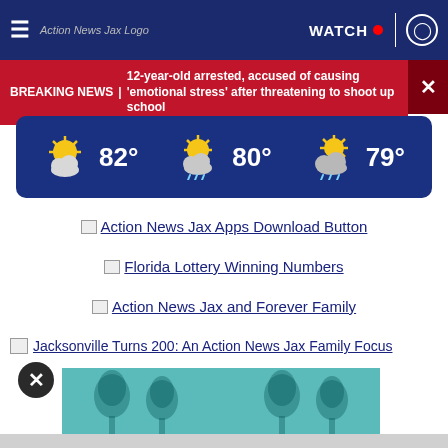Action News Jax Logo | WATCH | user icon
BREAKING NEWS | 12-year-old arrested, accused of causing 'emotional stress' after threatening to shoot up school
[Figure (infographic): Weather widget showing three weather icons with temperatures: 82°, 80°, 79° on a dark blue background]
[Figure (other): Action News Jax Apps Download Button link with broken image icon]
[Figure (other): Florida Lottery Winning Numbers link with broken image icon]
[Figure (other): Action News Jax and Forever Family link with broken image icon]
[Figure (other): Jacksonville Turns 200: An Action News Jax Family Focus link with broken image icon]
[Figure (other): Teal advertisement banner with tree silhouettes]
[Figure (other): Close button (X) overlay circle]